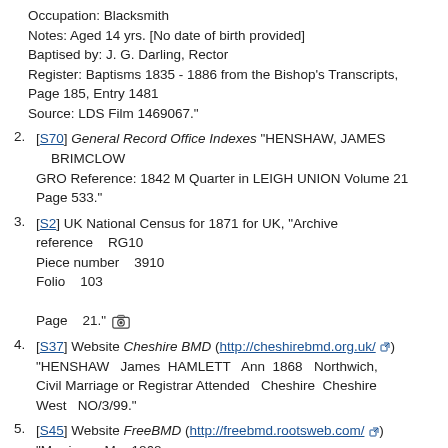Occupation: Blacksmith
Notes: Aged 14 yrs. [No date of birth provided]
Baptised by: J. G. Darling, Rector
Register: Baptisms 1835 - 1886 from the Bishop's Transcripts, Page 185, Entry 1481
Source: LDS Film 1469067."
2. [S70] General Record Office Indexes "HENSHAW, JAMES BRIMCLOW GRO Reference: 1842 M Quarter in LEIGH UNION Volume 21 Page 533."
3. [S2] UK National Census for 1871 for UK, "Archive reference    RG10 Piece number    3910 Folio    103 Page    21." [camera icon]
4. [S37] Website Cheshire BMD (http://cheshirebmd.org.uk/) "HENSHAW James HAMLETT Ann 1868 Northwich, Civil Marriage or Registrar Attended Cheshire Cheshire West NO/3/99."
5. [S45] Website FreeBMD (http://freebmd.rootsweb.com/) "Marriages Mar 1868 Hamlett Ann Northwich 8a 299 Henshaw James Northwich 8a 299 Lightfoot Ellen Northwich 8a 299 Smith Thomas Northwich 8a 299."
6. [S1088] Website Lancashire OPC (http://www.lan-opc.org.uk) "Baptism: 7 Feb 1869 St Peter, Liverpool, Lancashire, England Amos Henshaw - [Child] of James Henshaw & Ann Born: 15 Jan 1869